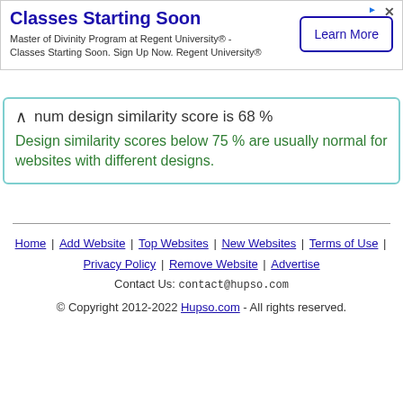[Figure (other): Advertisement banner for Regent University Master of Divinity Program with 'Learn More' button]
num design similarity score is 68 %
Design similarity scores below 75 % are usually normal for websites with different designs.
Home | Add Website | Top Websites | New Websites | Terms of Use | Privacy Policy | Remove Website | Advertise
Contact Us: contact@hupso.com
© Copyright 2012-2022 Hupso.com - All rights reserved.